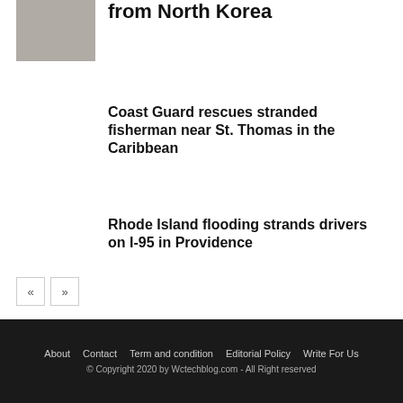[Figure (photo): Small thumbnail image, grayish photo at top left]
from North Korea
Coast Guard rescues stranded fisherman near St. Thomas in the Caribbean
Rhode Island flooding strands drivers on I-95 in Providence
« »  (pagination buttons)
About  Contact  Term and condition  Editorial Policy  Write For Us
© Copyright 2020 by Wctechblog.com - All Right reserved